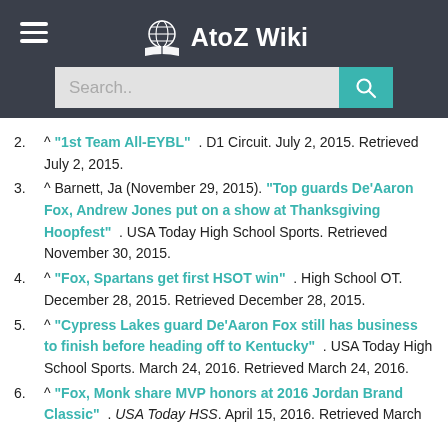AtoZ Wiki — Search bar header
2. ^ "1st Team All-EYBL" . D1 Circuit. July 2, 2015. Retrieved July 2, 2015.
3. ^ Barnett, Ja (November 29, 2015). "Top guards De'Aaron Fox, Andrew Jones put on a show at Thanksgiving Hoopfest" . USA Today High School Sports. Retrieved November 30, 2015.
4. ^ "Fox, Spartans get first HSOT win" . High School OT. December 28, 2015. Retrieved December 28, 2015.
5. ^ "Cypress Lakes guard De'Aaron Fox still has business to finish before heading off to Kentucky" . USA Today High School Sports. March 24, 2016. Retrieved March 24, 2016.
6. ^ "Fox, Monk share MVP honors at 2016 Jordan Brand Classic" . USA Today HSS. April 15, 2016. Retrieved March 30, 2016.